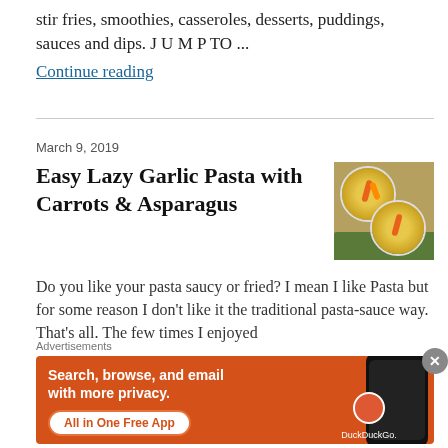stir fries, smoothies, casseroles, desserts, puddings, sauces and dips. J U M P TO …
Continue reading
March 9, 2019
Easy Lazy Garlic Pasta with Carrots & Asparagus
[Figure (photo): Overhead view of two white plates with garlic pasta, carrots and asparagus on a woven mat with a green cloth]
Do you like your pasta saucy or fried? I mean I like Pasta but for some reason I don't like it the traditional pasta-sauce way. That's all. The few times I enjoyed
Advertisements
[Figure (infographic): DuckDuckGo advertisement: orange background with phone graphic. Text: Search, browse, and email with more privacy. All in One Free App. DuckDuckGo.]